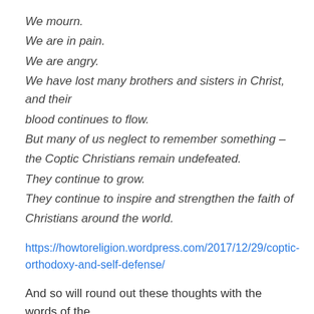We mourn.
We are in pain.
We are angry.
We have lost many brothers and sisters in Christ, and their blood continues to flow.
But many of us neglect to remember something – the Coptic Christians remain undefeated.
They continue to grow.
They continue to inspire and strengthen the faith of Christians around the world.
https://howtoreligion.wordpress.com/2017/12/29/coptic-orthodoxy-and-self-defense/
And so will round out these thoughts with the words of the late Orthodox monk and saint,
Saint Paisios…..